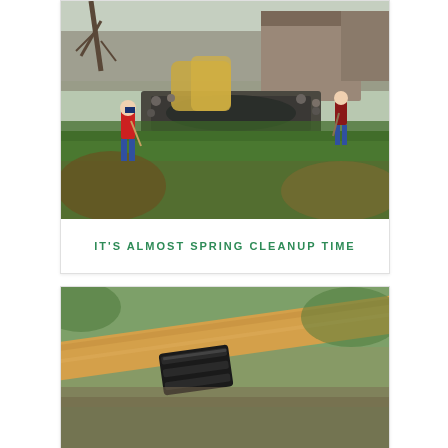[Figure (photo): Outdoor scene showing two people doing yard cleanup near a stone-bordered pond with dry ornamental grasses, bare trees, and a rustic wooden building in the background. Green lawn in foreground.]
IT'S ALMOST SPRING CLEANUP TIME
[Figure (photo): Close-up photo of garden tool — a black metal socket/ferrule and a wooden handle, likely a rake or hoe, against a blurred outdoor background.]